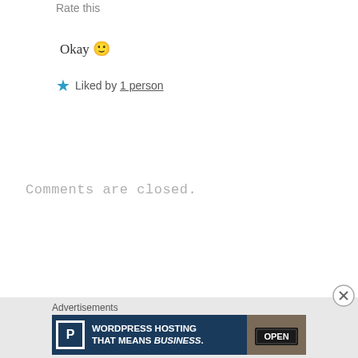Rate this
Okay 🙂
Liked by 1 person
Comments are closed.
Advertisements
[Figure (screenshot): WordPress Hosting advertisement banner with dark blue background, parking P logo, text 'WORDPRESS HOSTING THAT MEANS BUSINESS.' and an OPEN sign photo on the right]